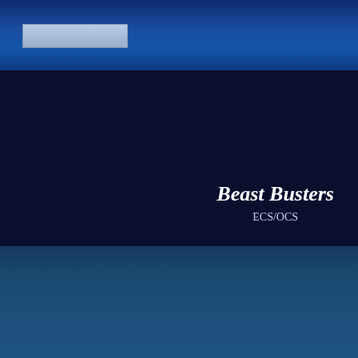[Figure (other): Dark blue presentation cover page with a header band containing a light blue rectangle tab, a navy body section, title text reading Beast Busters and subtitle ECS/OCS, and a lower teal-blue band.]
Beast Busters
ECS/OCS